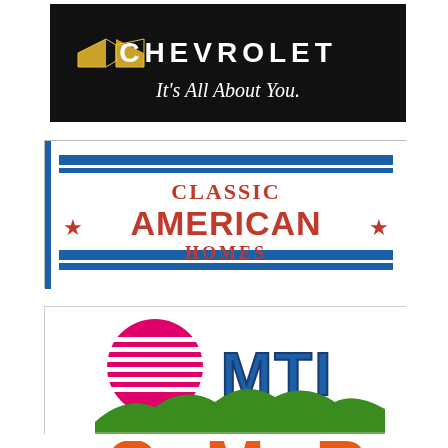[Figure (logo): Chevrolet logo with bowtie emblem and tagline 'It's All About You.' on black background]
[Figure (logo): Classic American Homes logo with blue horizontal stripes, red stars, and red text]
[Figure (logo): MTI logo with pink/magenta striped circle sun, blue bold 'MTI' text, and green mountain/field landscape]
[Figure (logo): Partial logo at bottom, orange/red letters partially visible]